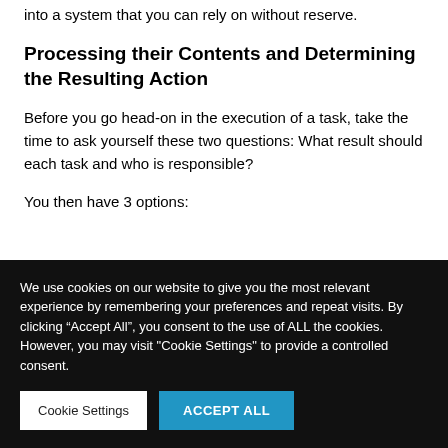into a system that you can rely on without reserve.
Processing their Contents and Determining the Resulting Action
Before you go head-on in the execution of a task, take the time to ask yourself these two questions: What result should each task and who is responsible?
You then have 3 options:
We use cookies on our website to give you the most relevant experience by remembering your preferences and repeat visits. By clicking “Accept All”, you consent to the use of ALL the cookies. However, you may visit "Cookie Settings" to provide a controlled consent.
Cookie Settings | ACCEPT ALL